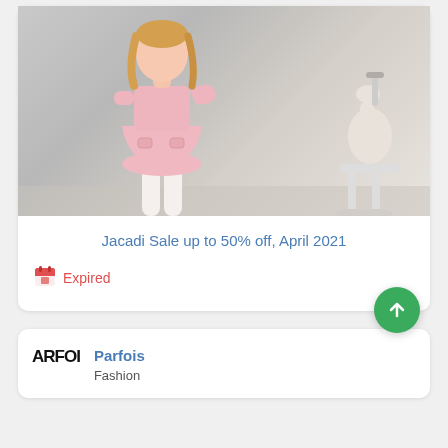[Figure (photo): Young girl in a pink short-sleeve dress standing next to a white toy rocking horse, against a grey/white background. Jacadi children's fashion product photo.]
Jacadi Sale up to 50% off, April 2021
Expired
[Figure (logo): ARFOI brand logo in black bold text]
Parfois
Fashion